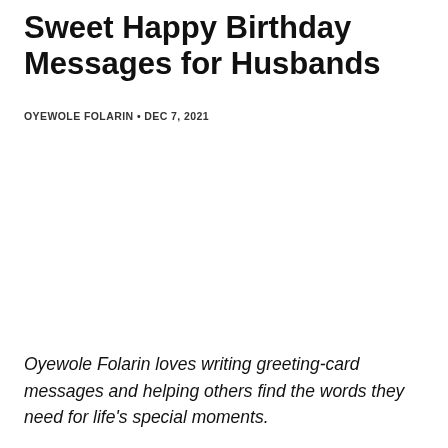Sweet Happy Birthday Messages for Husbands
OYEWOLE FOLARIN • DEC 7, 2021
Oyewole Folarin loves writing greeting-card messages and helping others find the words they need for life's special moments.